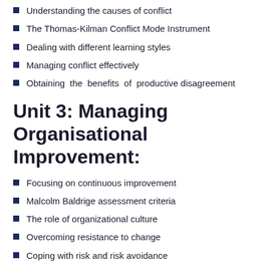Understanding the causes of conflict
The Thomas-Kilman Conflict Mode Instrument
Dealing with different learning styles
Managing conflict effectively
Obtaining the benefits of productive disagreement
Unit 3: Managing Organisational Improvement:
Focusing on continuous improvement
Malcolm Baldrige assessment criteria
The role of organizational culture
Overcoming resistance to change
Coping with risk and risk avoidance